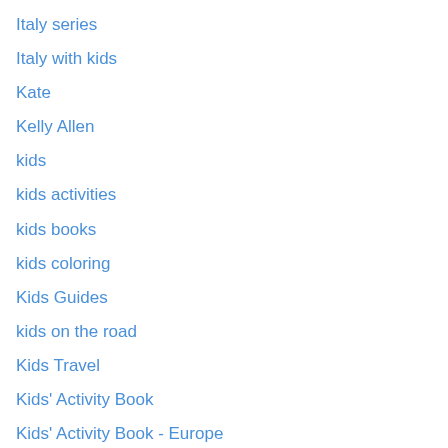Italy series
Italy with kids
Kate
Kelly Allen
kids
kids activities
kids books
kids coloring
Kids Guides
kids on the road
Kids Travel
Kids' Activity Book
Kids' Activity Book - Europe